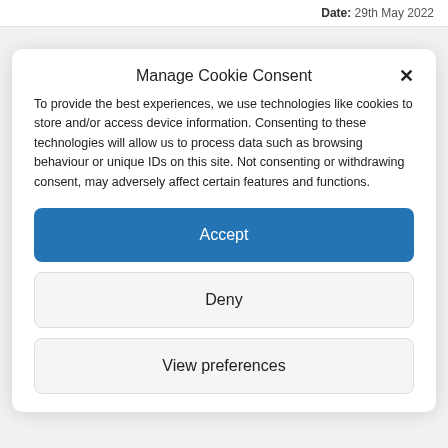Date: 29th May 2022
Manage Cookie Consent
To provide the best experiences, we use technologies like cookies to store and/or access device information. Consenting to these technologies will allow us to process data such as browsing behaviour or unique IDs on this site. Not consenting or withdrawing consent, may adversely affect certain features and functions.
Accept
Deny
View preferences